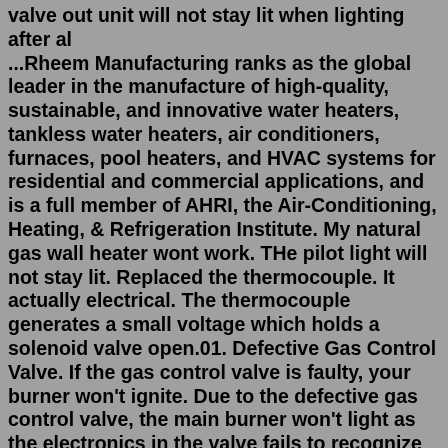valve out unit will not stay lit when lighting after al ...Rheem Manufacturing ranks as the global leader in the manufacture of high-quality, sustainable, and innovative water heaters, tankless water heaters, air conditioners, furnaces, pool heaters, and HVAC systems for residential and commercial applications, and is a full member of AHRI, the Air-Conditioning, Heating, & Refrigeration Institute. My natural gas wall heater wont work. THe pilot light will not stay lit. Replaced the thermocouple. It actually electrical. The thermocouple generates a small voltage which holds a solenoid valve open.01. Defective Gas Control Valve. If the gas control valve is faulty, your burner won't ignite. Due to the defective gas control valve, the main burner won't light as the electronics in the valve fails to recognize the pilot is lit. How to Fix: Unfortunately, you can get no luck if the problem is within your gas control valve.gas valve, gas safety valve, thermocouple valve, thermostatic valve, gas oven temperature control valve, gas tap valve, gas plug valve, gas needel valve, gas burner, gas heater,